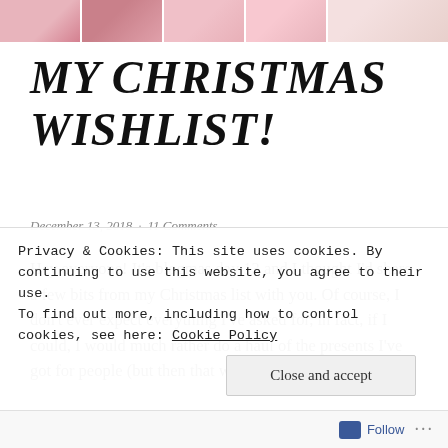[Figure (photo): Top image strip showing pink-toned product photos partially cropped at top]
MY CHRISTMAS WISHLIST!
December 13, 2018 · 11 Comments
Hey everyone! It's blogmas day 13 and I thought I'd share a few bits from my Christmas list with you. Of course, I don't ever expect everything I've asked for, in fact, if I could, I would much rather do a haul of the presents I've got for people (but then that would spoil
Privacy & Cookies: This site uses cookies. By continuing to use this website, you agree to their use.
To find out more, including how to control cookies, see here: Cookie Policy
Close and accept